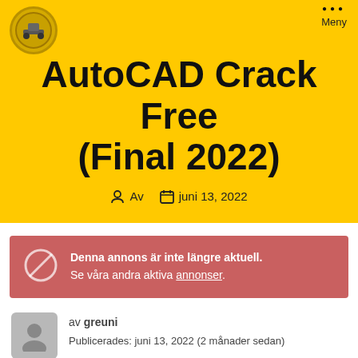AutoCAD Crack Free (Final 2022)
AutoCAD Crack Free
(Final 2022)
Av  juni 13, 2022
Denna annons är inte längre aktuell. Se våra andra aktiva annonser.
av greuni
Publicerades: juni 13, 2022 (2 månader sedan)
Jeep köpes